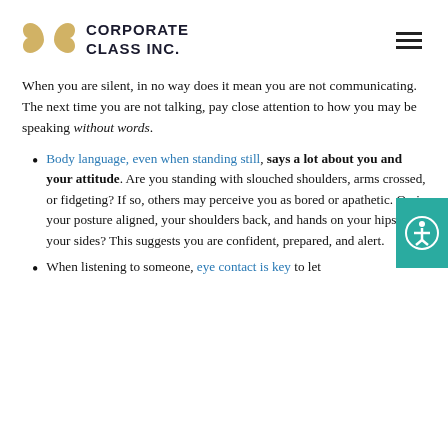Corporate Class Inc.
When you are silent, in no way does it mean you are not communicating. The next time you are not talking, pay close attention to how you may be speaking without words.
Body language, even when standing still, says a lot about you and your attitude. Are you standing with slouched shoulders, arms crossed, or fidgeting? If so, others may perceive you as bored or apathetic. Or, is your posture aligned, your shoulders back, and hands on your hips or at your sides? This suggests you are confident, prepared, and alert.
When listening to someone, eye contact is key to let